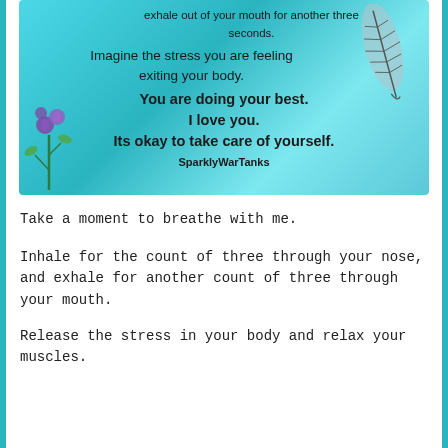[Figure (illustration): A turquoise/teal background motivational image with text about breathing and affirmations. Features a feather on the upper right and purple flowers on the lower left. Text reads: 'exhale out of your mouth for another three seconds. Imagine the stress you are feeling exiting your body. You are doing your best. I love you. Its okay to take care of yourself. SparklyWarTanks']
Take a moment to breathe with me.
Inhale for the count of three through your nose, and exhale for another count of three through your mouth.
Release the stress in your body and relax your muscles.